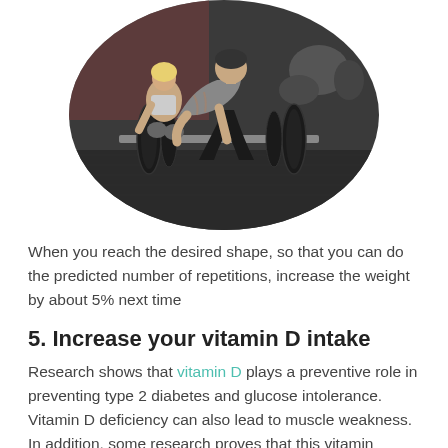[Figure (photo): Circular cropped photo of two people in a gym doing deadlifts with heavy barbell weights. A muscular man in grey t-shirt and dark shorts is bent over lifting a barbell; a woman in light tank top is crouching behind him. Background shows a gym with rubber flooring and equipment.]
When you reach the desired shape, so that you can do the predicted number of repetitions, increase the weight by about 5% next time
5. Increase your vitamin D intake
Research shows that vitamin D plays a preventive role in preventing type 2 diabetes and glucose intolerance. Vitamin D deficiency can also lead to muscle weakness. In addition, some research proves that this vitamin